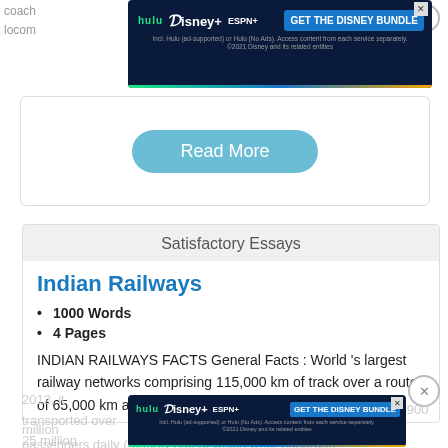coach
locom
[Figure (screenshot): Hulu Disney+ ESPN+ GET THE DISNEY BUNDLE advertisement banner. Dark blue background with streaming service logos and CTA button. Fine print: Incl. Hulu (ad-supported) or Hulu (No Ads). Access content from each service separately. ©2021 Disney and its related entities]
Read More
Satisfactory Essays
Indian Railways
1000 Words
4 Pages
INDIAN RAILWAYS FACTS General Facts : World 's largest railway networks comprising 115,000 km of track over a route of 65,000 km and 7,500 stations. As of December 2012, it transported over 25 million passengers daily (9 billion... 8,900 million... passengers daily (roughly half of which were suburban
[Figure (screenshot): Second Hulu Disney+ ESPN+ GET THE DISNEY BUNDLE advertisement banner.]